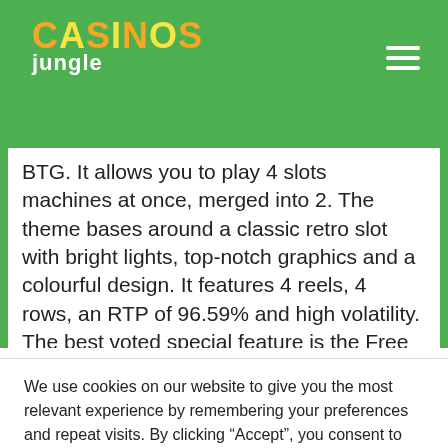Casinos Jungle
BTG. It allows you to play 4 slots machines at once, merged into 2. The theme bases around a classic retro slot with bright lights, top-notch graphics and a colourful design. It features 4 reels, 4 rows, an RTP of 96.59% and high volatility. The best voted special feature is the Free Spins feature which can trigger the Rainbow Wilds Bonus. You can check it out on SkyVegas, Paddy Power...
We use cookies on our website to give you the most relevant experience by remembering your preferences and repeat visits. By clicking “Accept”, you consent to the use of ALL the cookies.
Cookie settings
ACCEPT